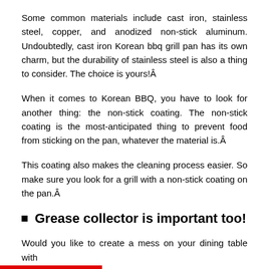Some common materials include cast iron, stainless steel, copper, and anodized non-stick aluminum. Undoubtedly, cast iron Korean bbq grill pan has its own charm, but the durability of stainless steel is also a thing to consider. The choice is yours!Â
When it comes to Korean BBQ, you have to look for another thing: the non-stick coating. The non-stick coating is the most-anticipated thing to prevent food from sticking on the pan, whatever the material is.Â
This coating also makes the cleaning process easier. So make sure you look for a grill with a non-stick coating on the pan.Â
Grease collector is important too!
Would you like to create a mess on your dining table with